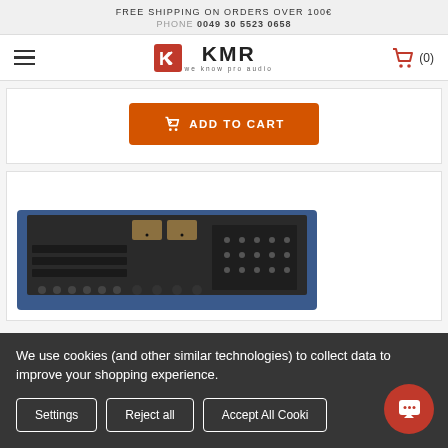FREE SHIPPING ON ORDERS OVER 100€
PHONE 0049 30 5523 0658
[Figure (logo): KMR Audio logo with red K icon and text 'we know pro audio']
ADD TO CART
[Figure (photo): Professional audio mixing console/recording desk with blue chassis, knobs, faders, and VU meters]
We use cookies (and other similar technologies) to collect data to improve your shopping experience.
Settings
Reject all
Accept All Cookies